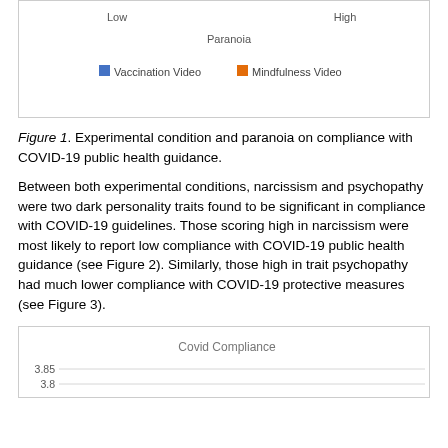[Figure (other): Top portion of a line chart showing Covid Compliance vs Paranoia (Low to High) with two series: Vaccination Video (blue) and Mindfulness Video (orange). Only the legend and x-axis label visible.]
Figure 1. Experimental condition and paranoia on compliance with COVID-19 public health guidance.
Between both experimental conditions, narcissism and psychopathy were two dark personality traits found to be significant in compliance with COVID-19 guidelines. Those scoring high in narcissism were most likely to report low compliance with COVID-19 public health guidance (see Figure 2). Similarly, those high in trait psychopathy had much lower compliance with COVID-19 protective measures (see Figure 3).
[Figure (line-chart): Bottom portion of a chart titled 'Covid Compliance' with y-axis starting at 3.85 and 3.8 visible.]